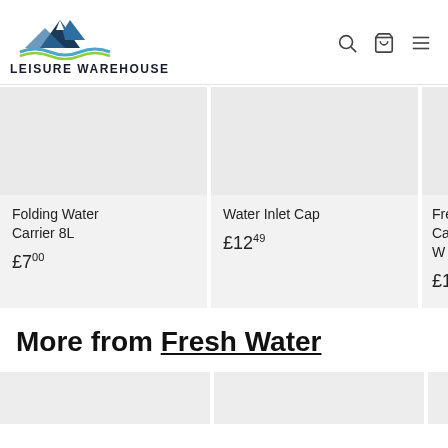[Figure (logo): Leisure Warehouse logo with mountain and water graphic]
LEISURE WAREHOUSE
[Figure (other): Search, cart, and menu icons in header]
[Figure (photo): Folding Water Carrier 8L product image placeholder]
Folding Water Carrier 8L
£7.00
[Figure (photo): Water Inlet Cap product image placeholder]
Water Inlet Cap
£12.49
[Figure (photo): Fresh Water Can product image placeholder (partially visible)]
Fresh Can W
£11.99
More from Fresh Water
[Figure (photo): Bottom product card 1 placeholder]
[Figure (photo): Bottom product card 2 placeholder]
[Figure (photo): Bottom product card 3 placeholder (partially visible)]